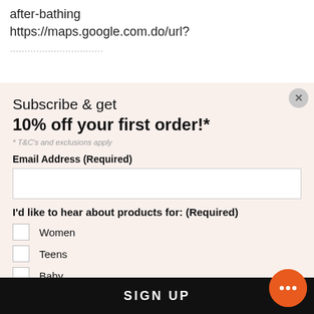after-bathing https://maps.google.com.do/url?
Subscribe & get 10% off your first order!*
* T&C's and exclusions apply
Email Address (Required)
I'd like to hear about products for: (Required)
Women
Teens
Baby
Men
SIGN UP